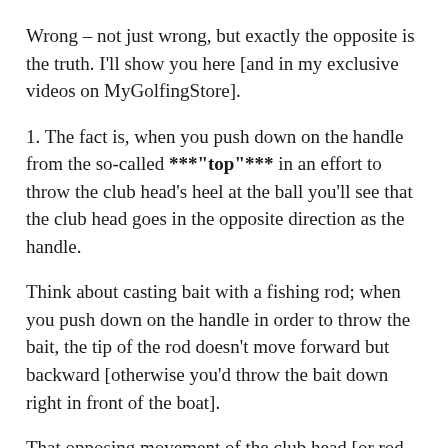Wrong – not just wrong, but exactly the opposite is the truth. I'll show you here [and in my exclusive videos on MyGolfingStore].
1. The fact is, when you push down on the handle from the so-called ***"top"*** in an effort to throw the club head's heel at the ball you'll see that the club head goes in the opposite direction as the handle.
Think about casting bait with a fishing rod; when you push down on the handle in order to throw the bait, the tip of the rod doesn't move forward but backward [otherwise you'd throw the bait down right in front of the boat].
That opposing movement of the club head [or rod tip] causes the shaft to flex in a way that